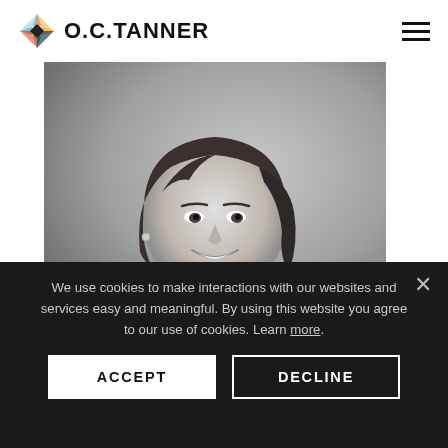O.C. TANNER
[Figure (photo): Black and white professional headshot of a smiling woman with short dark hair, wearing a light-colored blazer, photographed against a gray background.]
We use cookies to make interactions with our websites and services easy and meaningful. By using this website you agree to our use of cookies. Learn more.
ACCEPT
DECLINE